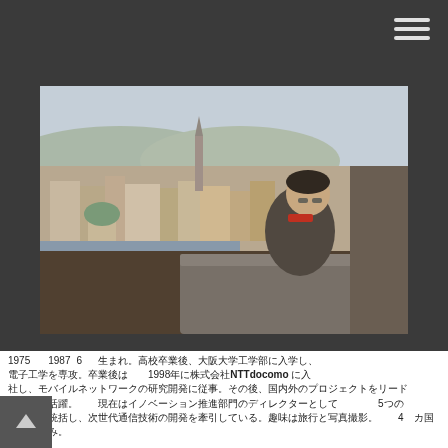[Figure (photo): Person looking out over a European city (rooftops, river, church tower visible) from an elevated viewpoint, stone parapet in foreground, overcast sky]
1975 1987 6 NTTdocomo 1998 5 4